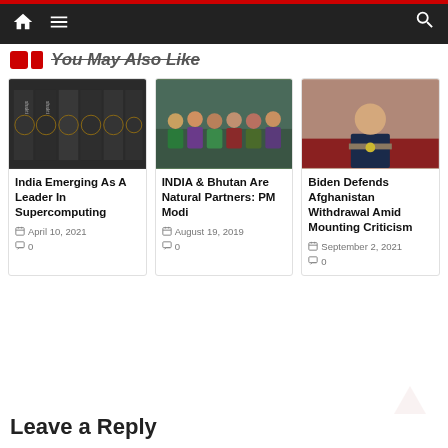Navigation bar with home, menu, and search icons
You May Also Like
[Figure (photo): Dark book covers with decorative patterns on shelves]
India Emerging As A Leader In Supercomputing
April 10, 2021   0
[Figure (photo): Group of people in colorful traditional dress posing together]
INDIA & Bhutan Are Natural Partners: PM Modi
August 19, 2019   0
[Figure (photo): Joe Biden speaking at a podium with presidential seal against red curtain background]
Biden Defends Afghanistan Withdrawal Amid Mounting Criticism
September 2, 2021   0
Leave a Reply